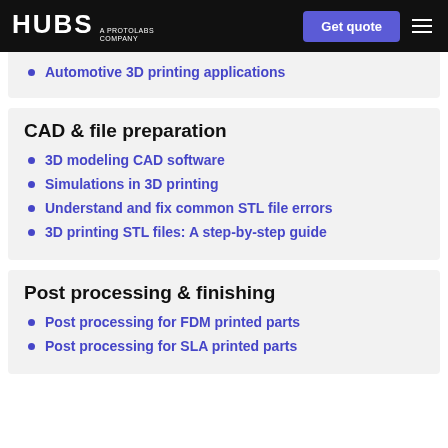HUBS A PROTOLABS COMPANY | Get quote
Automotive 3D printing applications
CAD & file preparation
3D modeling CAD software
Simulations in 3D printing
Understand and fix common STL file errors
3D printing STL files: A step-by-step guide
Post processing & finishing
Post processing for FDM printed parts
Post processing for SLA printed parts